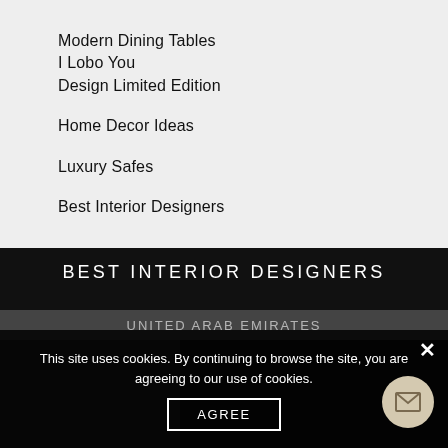Modern Dining Tables
I Lobo You
Design Limited Edition
Home Decor Ideas
Luxury Safes
Best Interior Designers
BEST INTERIOR DESIGNERS
UNITED ARAB EMIRATES
This site uses cookies. By continuing to browse the site, you are agreeing to our use of cookies.
AGREE